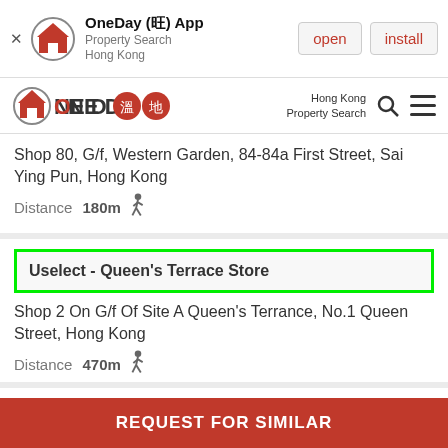[Figure (screenshot): App install banner for OneDay App - Property Search Hong Kong with open and install buttons]
[Figure (logo): OneDay 溫地 property search Hong Kong logo with navigation icons]
Shop 80, G/f, Western Garden, 84-84a First Street, Sai Ying Pun, Hong Kong
Distance 180m
Uselect - Queen's Terrace Store
Shop 2 On G/f Of Site A Queen's Terrance, No.1 Queen Street, Hong Kong
Distance 470m
Uselect - Soho 189 Store
REQUEST FOR SIMILAR